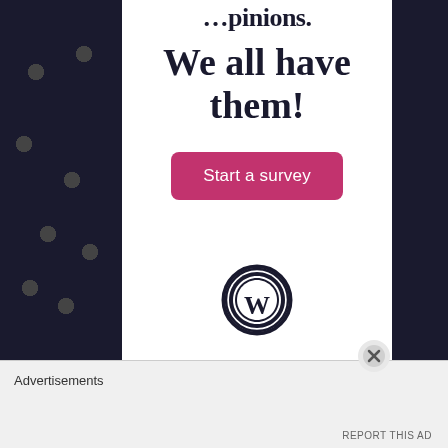[Figure (photo): Dark navy/black fabric with polka dots visible on left strip]
We all have them!
Start a survey
[Figure (logo): WordPress circular logo in dark navy]
[Figure (photo): Dark navy fabric/clothing visible on right strip]
Advertisements
REPORT THIS AD